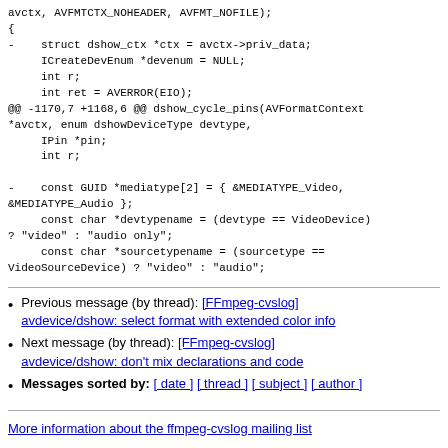avctx, AVFMTCTX_NOHEADER, AVFMT_NOFILE);
{
-    struct dshow_ctx *ctx = avctx->priv_data;
     ICreateDevEnum *devenum = NULL;
     int r;
     int ret = AVERROR(EIO);
@@ -1170,7 +1168,6 @@ dshow_cycle_pins(AVFormatContext *avctx, enum dshowDeviceType devtype,
     IPin *pin;
     int r;

-    const GUID *mediatype[2] = { &MEDIATYPE_Video, &MEDIATYPE_Audio };
     const char *devtypename = (devtype == VideoDevice) ? "video" : "audio only";
     const char *sourcetypename = (sourcetype == VideoSourceDevice) ? "video" : "audio";
Previous message (by thread): [FFmpeg-cvslog] avdevice/dshow: select format with extended color info
Next message (by thread): [FFmpeg-cvslog] avdevice/dshow: don't mix declarations and code
Messages sorted by: [ date ] [ thread ] [ subject ] [ author ]
More information about the ffmpeg-cvslog mailing list